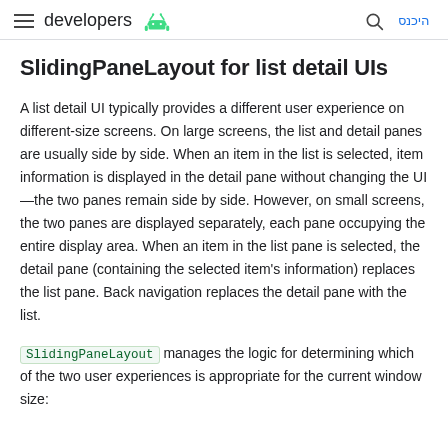developers [android logo] [search] היכנס
SlidingPaneLayout for list detail UIs
A list detail UI typically provides a different user experience on different-size screens. On large screens, the list and detail panes are usually side by side. When an item in the list is selected, item information is displayed in the detail pane without changing the UI—the two panes remain side by side. However, on small screens, the two panes are displayed separately, each pane occupying the entire display area. When an item in the list pane is selected, the detail pane (containing the selected item's information) replaces the list pane. Back navigation replaces the detail pane with the list.
SlidingPaneLayout manages the logic for determining which of the two user experiences is appropriate for the current window size: